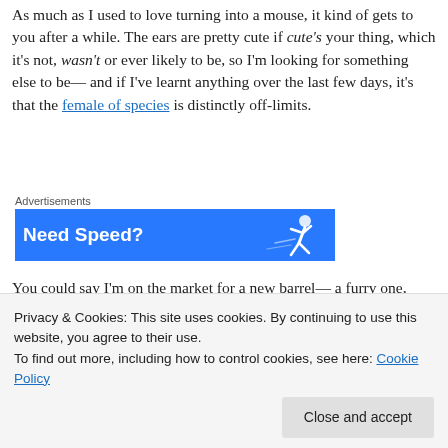As much as I used to love turning into a mouse, it kind of gets to you after a while. The ears are pretty cute if cute's your thing, which it's not, wasn't or ever likely to be, so I'm looking for something else to be— and if I've learnt anything over the last few days, it's that the female of species is distinctly off-limits.
[Figure (other): Advertisement banner with blue background showing 'Need Speed?' text and a running figure silhouette]
You could say I'm on the market for a new barrel— a furry one, something that floats and preferably—
Privacy & Cookies: This site uses cookies. By continuing to use this website, you agree to their use.
To find out more, including how to control cookies, see here: Cookie Policy
unfortunately for her, had a peculiar blood condition